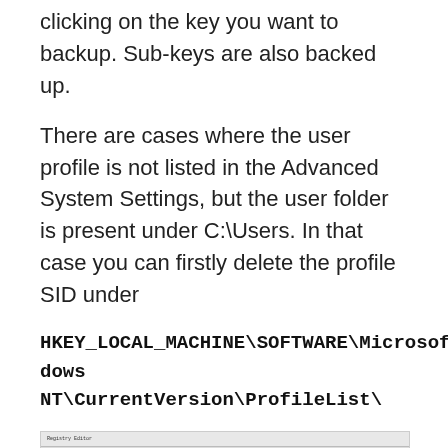clicking on the key you want to backup. Sub-keys are also backed up.
There are cases where the user profile is not listed in the Advanced System Settings, but the user folder is present under C:\Users. In that case you can firstly delete the profile SID under
[Figure (screenshot): Registry Editor window showing the ProfileList registry keys in HKEY_LOCAL_MACHINE\SOFTWARE\Microsoft\Windows NT\CurrentVersion\ProfileList, with a selected SID highlighted in red.]